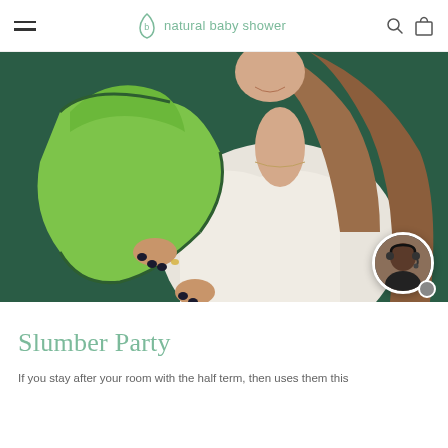natural baby shower
[Figure (photo): Woman in white top holding a baby wrapped in a green hooded towel with dark green trim, photographed against a dark green background.]
Slumber Party
If you stay after your room with the half term, then uses them this